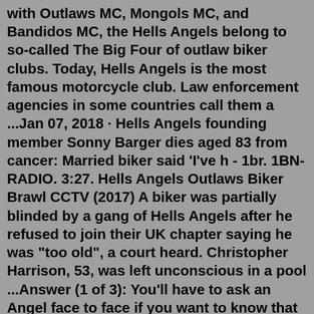with Outlaws MC, Mongols MC, and Bandidos MC, the Hells Angels belong to so-called The Big Four of outlaw biker clubs. Today, Hells Angels is the most famous motorcycle club. Law enforcement agencies in some countries call them a ...Jan 07, 2018 · Hells Angels founding member Sonny Barger dies aged 83 from cancer: Married biker said 'I've h - 1br. 1BN-RADIO. 3:27. Hells Angels Outlaws Biker Brawl CCTV (2017) A biker was partially blinded by a gang of Hells Angels after he refused to join their UK chapter saying he was "too old", a court heard. Christopher Harrison, 53, was left unconscious in a pool ...Answer (1 of 3): You'll have to ask an Angel face to face if you want to know that one and to be fair he will probably tell you to f*** off and mind your own business. Gambill said he was murdered as part of the killer's initiation into the Aryan Brotherhood. ... He claimed that when the Rolling Stones hired the Hells Angels to provide security in 1969 at a ...Mar 23, 1984 · SAN FRANCISCO -- The wives of three Hells Angels motorcycle club members